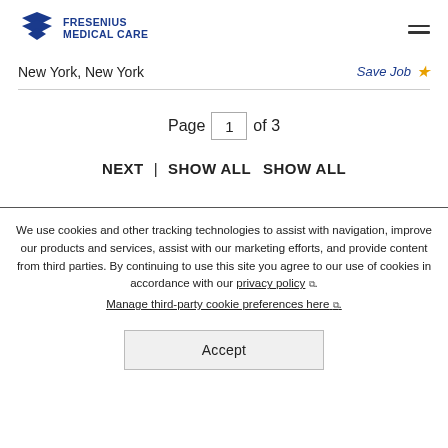Fresenius Medical Care
New York, New York
Save Job
Page 1 of 3
NEXT  |  SHOW ALL  SHOW ALL
We use cookies and other tracking technologies to assist with navigation, improve our products and services, assist with our marketing efforts, and provide content from third parties. By continuing to use this site you agree to our use of cookies in accordance with our privacy policy. Manage third-party cookie preferences here.
Accept